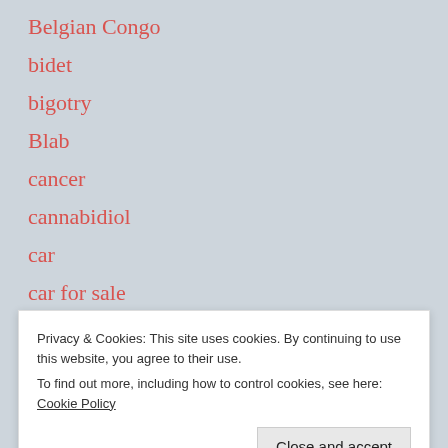Belgian Congo
bidet
bigotry
Blab
cancer
cannabidiol
car
car for sale
Carousel of Crap
Privacy & Cookies: This site uses cookies. By continuing to use this website, you agree to their use.
To find out more, including how to control cookies, see here: Cookie Policy
CBD